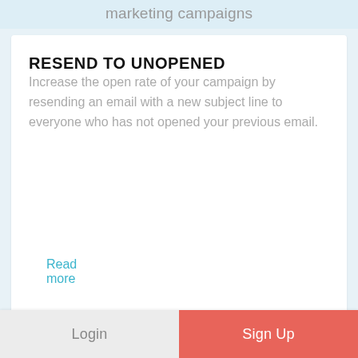marketing campaigns
RESEND TO UNOPENED
Increase the open rate of your campaign by resending an email with a new subject line to everyone who has not opened your previous email.
Read more
Login  Sign Up